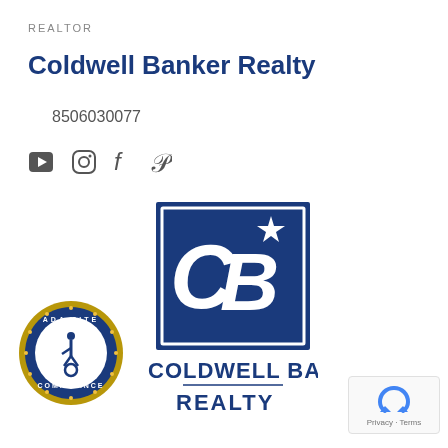REALTOR
Coldwell Banker Realty
8506030077
[Figure (logo): Social media icons: YouTube, Instagram, Facebook, Pinterest]
[Figure (logo): Coldwell Banker Realty logo — blue square with CB monogram and star, text COLDWELL BANKER REALTY below]
[Figure (logo): ADA Site Compliance badge — circular gold and blue seal with wheelchair accessibility icon]
[Figure (logo): Google reCAPTCHA badge with Privacy and Terms text]